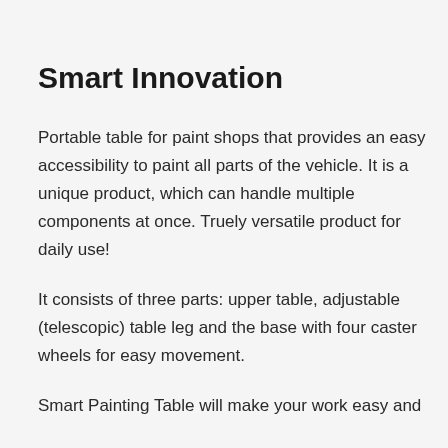Smart Innovation
Portable table for paint shops that provides an easy accessibility to paint all parts of the vehicle. It is a unique product, which can handle multiple components at once. Truely versatile product for daily use!
It consists of three parts: upper table, adjustable (telescopic) table leg and the base with four caster wheels for easy movement.
Smart Painting Table will make your work easy and